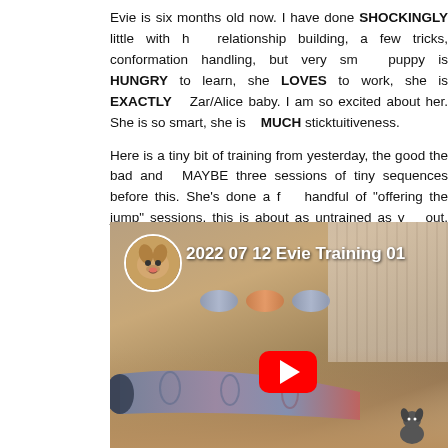Evie is six months old now. I have done SHOCKINGLY little with her: relationship building, a few tricks, conformation handling, but very sm... puppy is HUNGRY to learn, she LOVES to work, she is EXACTLY a Zar/Alice baby. I am so excited about her. She is so smart, she is MUCH sticktuitiveness.
Here is a tiny bit of training from yesterday, the good the bad and MAYBE three sessions of tiny sequences before this. She's done a handful of "offering the jump" sessions, this is about as untrained as y out, she wants to play, and she wants to RUN.
Love this puppy!
[Figure (screenshot): YouTube video thumbnail showing a dog training session in an indoor agility arena. A dog avatar circle is shown in top-left with title '2022 07 12 Evie Training 01'. The video shows an agility tunnel on a sandy floor with a small puppy in the bottom right. A red YouTube play button is visible in the center-bottom area.]